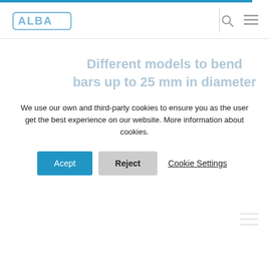ALBA logo header with search and menu icons
Different models to bend bars up to 25 mm in diameter
Rebar scissors
Designed to cut steel rods up to 16 mm in diameter, with 3 interchangeable cutting edges and made of forged steel.
We use our own and third-party cookies to ensure you as the user get the best experience on our website. More information about cookies.